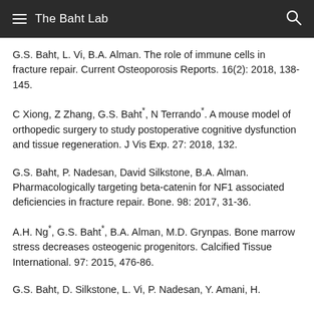The Baht Lab
G.S. Baht, L. Vi, B.A. Alman. The role of immune cells in fracture repair. Current Osteoporosis Reports. 16(2): 2018, 138-145.
C Xiong, Z Zhang, G.S. Baht*, N Terrando*. A mouse model of orthopedic surgery to study postoperative cognitive dysfunction and tissue regeneration. J Vis Exp. 27: 2018, 132.
G.S. Baht, P. Nadesan, David Silkstone, B.A. Alman. Pharmacologically targeting beta-catenin for NF1 associated deficiencies in fracture repair. Bone. 98: 2017, 31-36.
A.H. Ng*, G.S. Baht*, B.A. Alman, M.D. Grynpas. Bone marrow stress decreases osteogenic progenitors. Calcified Tissue International. 97: 2015, 476-86.
G.S. Baht, D. Silkstone, L. Vi, P. Nadesan, Y. Amani, H.